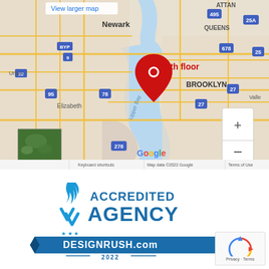[Figure (map): Google Map screenshot showing New York City area with a red location pin labeled '34th floor' placed over Manhattan/Hudson area. Shows Newark, Elizabeth, Linden, Brooklyn, Queens, Gateway National Recreation Area. Includes 'View larger map' link at top. Map data ©2022 Google. Keyboard shortcuts and Terms of Use shown at bottom.]
[Figure (logo): DesignRush Accredited Agency badge for 2022. Shows a blue flame/arrow icon, text 'ACCREDITED AGENCY' in blue, and a blue ribbon banner reading 'DESIGNRUSH.com' with '2022' below.]
[Figure (other): Google reCAPTCHA logo box with 'Privacy · Terms' text at bottom right of page.]